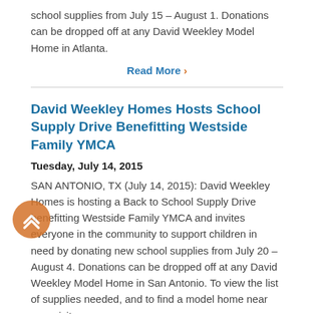school supplies from July 15 – August 1. Donations can be dropped off at any David Weekley Model Home in Atlanta.
Read More ›
David Weekley Homes Hosts School Supply Drive Benefitting Westside Family YMCA
Tuesday, July 14, 2015
SAN ANTONIO, TX (July 14, 2015): David Weekley Homes is hosting a Back to School Supply Drive benefitting Westside Family YMCA and invites everyone in the community to support children in need by donating new school supplies from July 20 – August 4. Donations can be dropped off at any David Weekley Model Home in San Antonio. To view the list of supplies needed, and to find a model home near you, visit